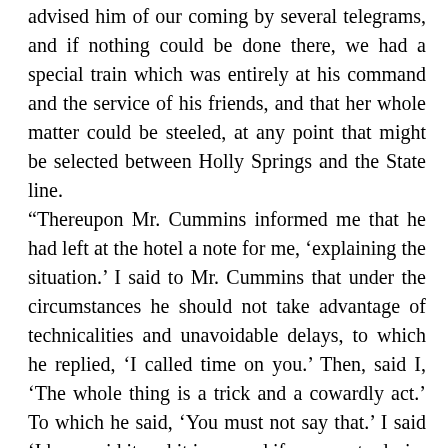advised him of our coming by several telegrams, and if nothing could be done there, we had a special train which was entirely at his command and the service of his friends, and that her whole matter could be steeled, at any point that might be selected between Holly Springs and the State line.
“Thereupon Mr. Cummins informed me that he had left at the hotel a note for me, ‘explaining the situation.’ I said to Mr. Cummins that under the circumstances he should not take advantage of technicalities and unavoidable delays, to which he replied, ‘I called time on you.’ Then, said I, ‘The whole thing is a trick and a cowardly act.’ To which he said, ‘You must not say that.’ I said ‘I have said it and it is so, and if your party desire to remain on the train and leave, you can do so.’
“Whereupon I alighted from the train, went to the hotel and received the following note:
Holly Springs, Miss., May 5
Mr. W. J. Crawford: